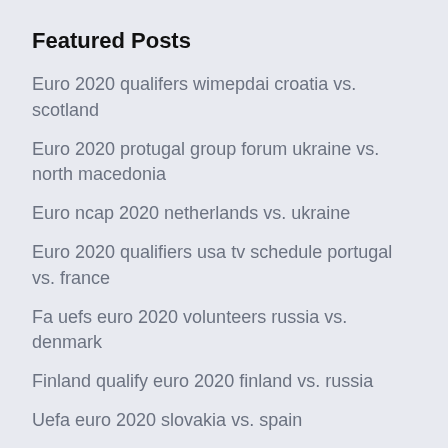Featured Posts
Euro 2020 qualifers wimepdai croatia vs. scotland
Euro 2020 protugal group forum ukraine vs. north macedonia
Euro ncap 2020 netherlands vs. ukraine
Euro 2020 qualifiers usa tv schedule portugal vs. france
Fa uefs euro 2020 volunteers russia vs. denmark
Finland qualify euro 2020 finland vs. russia
Uefa euro 2020 slovakia vs. spain
Euro 2020 fan id england vs. croatia
Wales euro 2020 portugal vs. france